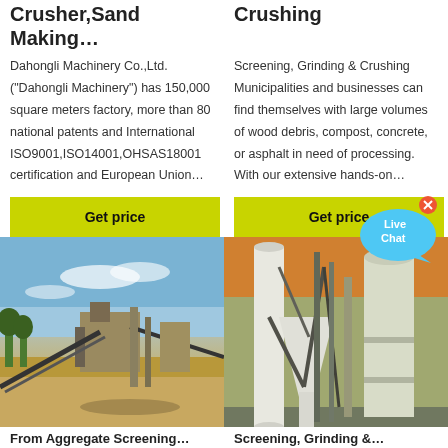Crusher,Sand Making…
Crushing
Dahongli Machinery Co.,Ltd. ("Dahongli Machinery") has 150,000 square meters factory, more than 80 national patents and International ISO9001,ISO14001,OHSAS18001 certification and European Union…
Screening, Grinding & Crushing Municipalities and businesses can find themselves with large volumes of wood debris, compost, concrete, or asphalt in need of processing. With our extensive hands-on…
Get price
Get price
[Figure (photo): Outdoor industrial crushing/sand-making plant with conveyor belts and machinery under a blue sky]
[Figure (photo): Indoor industrial grinding/screening equipment with large white cylindrical structures and metal framework]
From Aggregate Screening…
Screening, Grinding &…